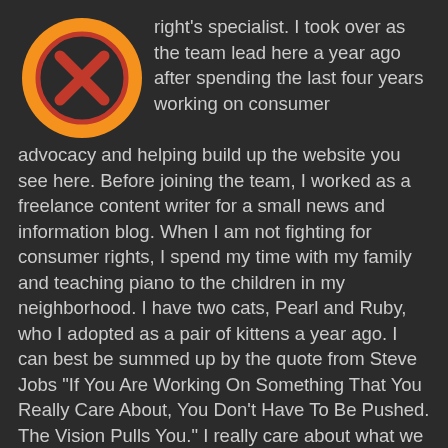[Figure (logo): Orange circle with dark X mark inside, resembling a cancel/remove icon logo]
right's specialist. I took over as the team lead here a year ago after spending the last four years working on consumer advocacy and helping build up the website you see here. Before joining the team, I worked as a freelance content writer for a small news and information blog. When I am not fighting for consumer rights, I spend my time with my family and teaching piano to the children in my neighborhood. I have two cats, Pearl and Ruby, who I adopted as a pair of kittens a year ago. I can best be summed up by the quote from Steve Jobs "If You Are Working On Something That You Really Care About, You Don't Have To Be Pushed. The Vision Pulls You." I really care about what we do here!